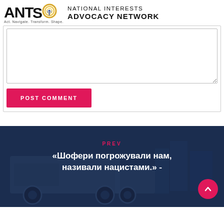ANTS - Act. Navigate. Transform. Shape. NATIONAL INTERESTS ADVOCACY NETWORK
[Figure (other): Comment text area input box (empty)]
POST COMMENT
[Figure (illustration): Navigation banner with dark blue background, truck silhouette, PREV label, and Cyrillic title text: «Шофери погрожували нам, називали нацистами.» -]
PREV
«Шофери погрожували нам, називали нацистами.» -